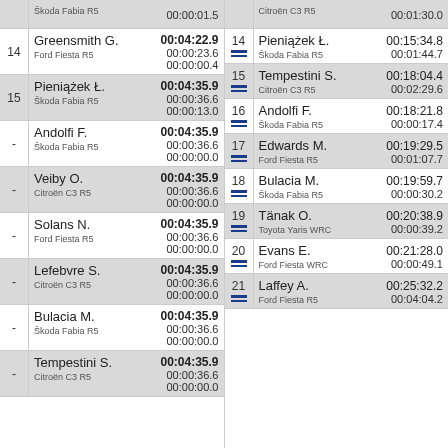| Pos | Driver/Car | Times | Pos | Driver/Car | Times |
| --- | --- | --- | --- | --- | --- |
| - | Škoda Fabia R5 | 00:00:01.5 | = | Citroën C3 R5 | 00:01:30.0 |
| 14 | Greensmith G. / Ford Fiesta R5 | 00:04:22.9 / 00:00:23.6 / 00:00:00.4 | 14 = | Pieniążek Ł. / Škoda Fabia R5 | 00:15:34.8 / 00:01:44.7 |
| 15 | Pieniążek Ł. / Škoda Fabia R5 | 00:04:35.9 / 00:00:36.6 / 00:00:13.0 | 15 = | Tempestini S. / Citroën C3 R5 | 00:18:04.4 / 00:02:29.6 |
| - | Andolfi F. / Škoda Fabia R5 | 00:04:35.9 / 00:00:36.6 / 00:00:00.0 | 16 = | Andolfi F. / Škoda Fabia R5 | 00:18:21.8 / 00:00:17.4 |
| - | Veiby O. / Citroën C3 R5 | 00:04:35.9 / 00:00:36.6 / 00:00:00.0 | 17 = | Edwards M. / Ford Fiesta R5 | 00:19:29.5 / 00:01:07.7 |
| - | Solans N. / Ford Fiesta R5 | 00:04:35.9 / 00:00:36.6 / 00:00:00.0 | 18 = | Bulacia M. / Škoda Fabia R5 | 00:19:59.7 / 00:00:30.2 |
| - | Lefebvre S. / Citroën C3 R5 | 00:04:35.9 / 00:00:36.6 / 00:00:00.0 | 19 = | Tänak O. / Toyota Yaris WRC | 00:20:38.9 / 00:00:39.2 |
| - | Bulacia M. / Škoda Fabia R5 | 00:04:35.9 / 00:00:36.6 / 00:00:00.0 | 20 = | Evans E. / Ford Fiesta WRC | 00:21:28.0 / 00:00:49.1 |
| - | Tempestini S. / Citroën C3 R5 | 00:04:35.9 / 00:00:36.6 / 00:00:00.0 | 21 = | Laffey A. / Ford Fiesta R5 | 00:25:32.2 / 00:04:04.2 |